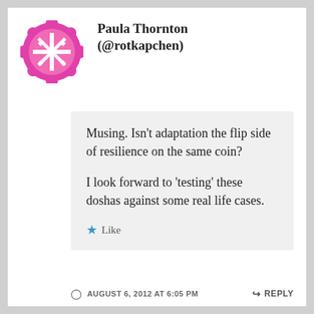[Figure (illustration): Pink/magenta decorative avatar icon with snowflake/cross pattern inside a scalloped circular border]
Paula Thornton (@rotkapchen)
Musing. Isn’t adaptation the flip side of resilience on the same coin?

I look forward to ‘testing’ these doshas against some real life cases.
★ Like
AUGUST 6, 2012 AT 6:05 PM   ↳ REPLY